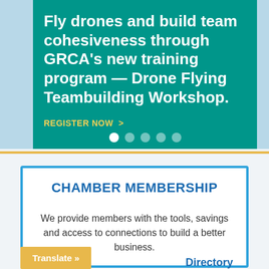Fly drones and build team cohesiveness through GRCA's new training program — Drone Flying Teambuilding Workshop.
REGISTER NOW >
CHAMBER MEMBERSHIP
We provide members with the tools, savings and access to connections to build a better business.
Translate »
Directory